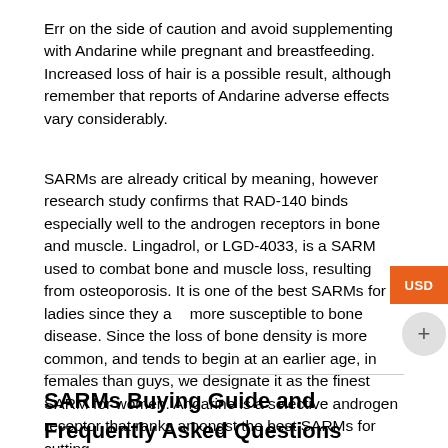Err on the side of caution and avoid supplementing with Andarine while pregnant and breastfeeding. Increased loss of hair is a possible result, although remember that reports of Andarine adverse effects vary considerably.
SARMs are already critical by meaning, however research study confirms that RAD-140 binds especially well to the androgen receptors in bone and muscle. Lingadrol, or LGD-4033, is a SARM used to combat bone and muscle loss, resulting from osteoporosis. It is one of the best SARMs for ladies since they are more susceptible to bone disease. Since the loss of bone density is more common, and tends to begin at an earlier age, in females than guys, we designate it as the finest SARM for women. Andarine is a selective androgen receptor that ranks amongst the best SARMs for cutting.
SARMs Buying Guide and Frequently Asked Questions